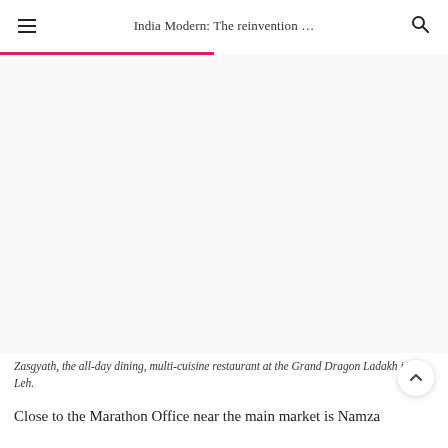India Modern: The reinvention …
[Figure (photo): Large photograph of Zasgyath restaurant interior — all-day dining, multi-cuisine restaurant at the Grand Dragon Ladakh in Leh. Image appears mostly white/blank in the scan.]
Zasgyath, the all-day dining, multi-cuisine restaurant at the Grand Dragon Ladakh in Leh.
Close to the Marathon Office near the main market is Namza